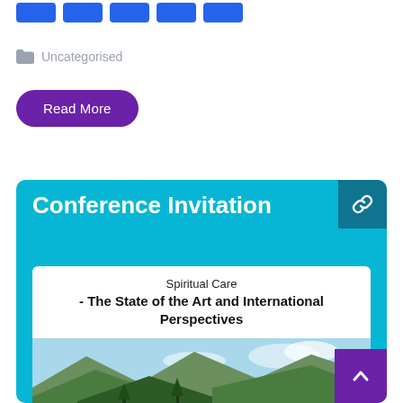[Figure (other): Row of blue share/social buttons at top]
Uncategorised
Read More
[Figure (other): Conference Invitation card with cyan/teal background, link icon, inner white card reading 'Spiritual Care - The State of the Art and International Perspectives' with a landscape photo of green mountains and water below]
Conference Invitation
Spiritual Care
- The State of the Art and International Perspectives